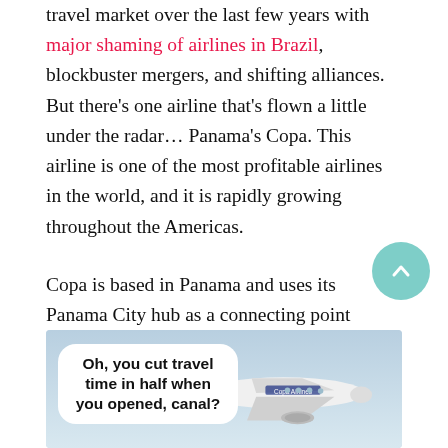travel market over the last few years with major shaming of airlines in Brazil, blockbuster mergers, and shifting alliances. But there's one airline that's flown a little under the radar… Panama's Copa. This airline is one of the most profitable airlines in the world, and it is rapidly growing throughout the Americas.
Copa is based in Panama and uses its Panama City hub as a connecting point between North and South America with skill. Panama has been a key transit point in the world for a century (hello, canal), but its location is equally ideal for air travel and that allows for some surprising frequencies.
[Figure (photo): A Copa Airlines airplane in flight against a light blue sky, with a speech bubble caption reading 'Oh, you cut travel time in half when you opened, canal? Then how...' overlaid on the left side.]